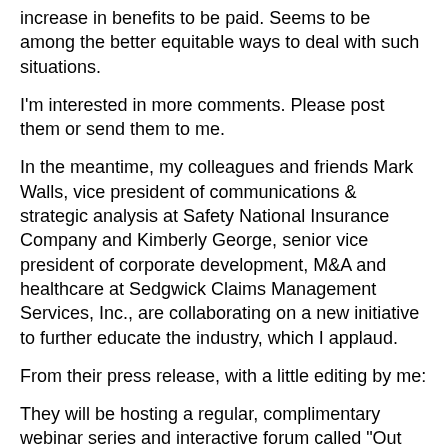increase in benefits to be paid. Seems to be among the better equitable ways to deal with such situations.
I'm interested in more comments. Please post them or send them to me.
In the meantime, my colleagues and friends Mark Walls, vice president of communications & strategic analysis at Safety National Insurance Company and Kimberly George, senior vice president of corporate development, M&A and healthcare at Sedgwick Claims Management Services, Inc., are collaborating on a new initiative to further educate the industry, which I applaud.
From their press release, with a little editing by me:
They will be hosting a regular, complimentary webinar series and interactive forum called "Out Front Ideas with Kimberly and Mark." The series – sponsored by Sedgwick and Safety National – will be dedicated to covering important workers' compensation-related topics that are not receiving enough attention in the industry.